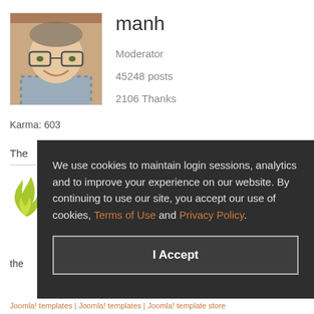[Figure (photo): Profile photo of a smiling middle-aged man with glasses, wearing a plaid shirt, in front of a brick building]
manh
Moderator
45248 posts
2106 Thanks
Karma: 603
The
[Figure (illustration): Green flame/leaf logo icon]
the
We use cookies to maintain login sessions, analytics and to improve your experience on our website. By continuing to use our site, you accept our use of cookies, Terms of Use and Privacy Policy.
I Accept
Joomla! templates | Joomla! templates | Joomla! template store